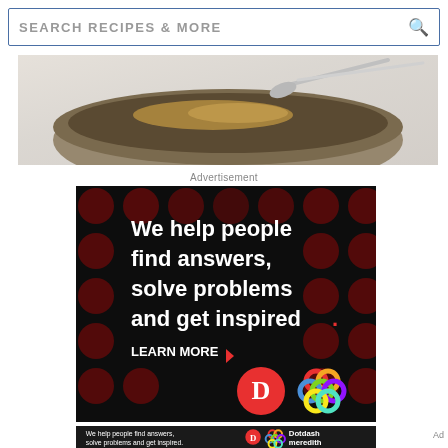[Figure (screenshot): Search bar with text SEARCH RECIPES & MORE and a magnifying glass icon on the right]
[Figure (photo): Close-up photo of a food bowl with dark contents, spoon visible, on marble surface]
Advertisement
[Figure (infographic): Dotdash Meredith advertisement on black background with dark red polka dots. Text reads: We help people find answers, solve problems and get inspired. LEARN MORE with arrow. Shows Dotdash D logo in red circle and Meredith colorful knot logo.]
[Figure (infographic): Smaller banner ad: We help people find answers, solve problems and get inspired. With Dotdash D logo and Meredith colorful knot logo and Dotdash meredith text.]
Ad